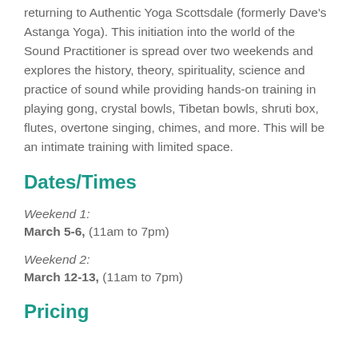returning to Authentic Yoga Scottsdale (formerly Dave's Astanga Yoga). This initiation into the world of the Sound Practitioner is spread over two weekends and explores the history, theory, spirituality, science and practice of sound while providing hands-on training in playing gong, crystal bowls, Tibetan bowls, shruti box, flutes, overtone singing, chimes, and more. This will be an intimate training with limited space.
Dates/Times
Weekend 1:
March 5-6, (11am to 7pm)
Weekend 2:
March 12-13, (11am to 7pm)
Pricing